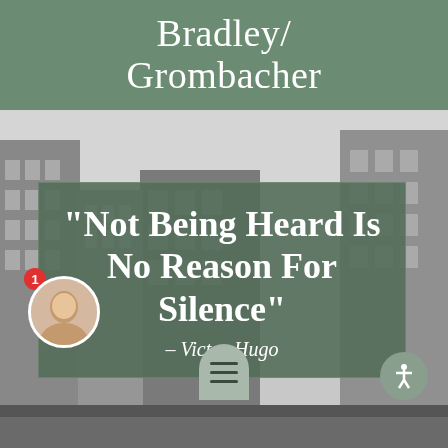Bradley/Grombacher
[Figure (photo): Black and white photograph of urban city buildings/skyscrapers]
“Not Being Heard Is No Reason For Silence”
– Victor Hugo